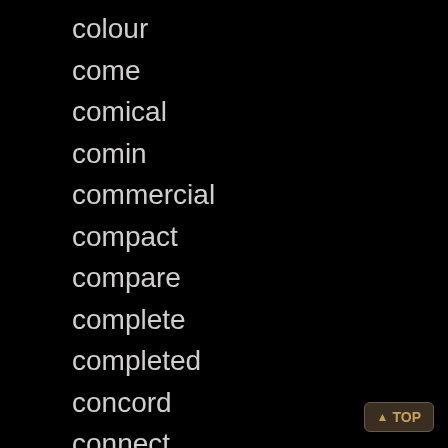colour
come
comical
comin
commercial
compact
compare
complete
completed
concord
connect
connectable
connectpro
constanton
contemporary
continuing
conversation
cool